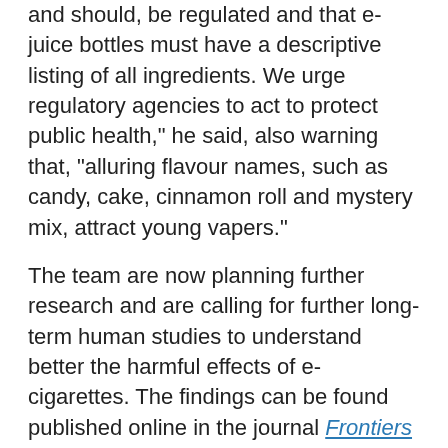and should, be regulated and that e-juice bottles must have a descriptive listing of all ingredients. We urge regulatory agencies to act to protect public health," he said, also warning that, "alluring flavour names, such as candy, cake, cinnamon roll and mystery mix, attract young vapers."
The team are now planning further research and are calling for further long-term human studies to understand better the harmful effects of e-cigarettes. The findings can be found published online in the journal Frontiers in Physiology.
To learn more please read the following articles:
Science Daily
Bustle
MalayMail Online